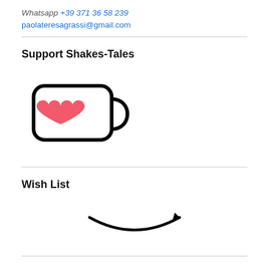Whatsapp +39 371 36 58 239
paolateresagrassi@gmail.com
Support Shakes-Tales
[Figure (illustration): Buy Me a Coffee cup icon — a white mug with a pink/red heart drawn on it and a handle on the right, outlined in black]
Wish List
[Figure (logo): Amazon smile logo — the curved arrow/smile in black, pointing right with an arrowhead]
paolateresagrassi@gmail.com